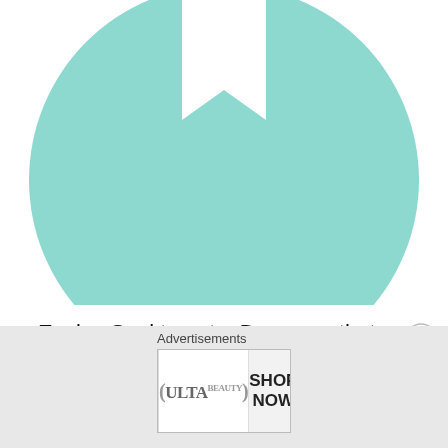[Figure (illustration): Teal/mint colored circular avatar icon with a white bookmark/ribbon symbol in the center top, cropped showing the upper portion of the circle on a white background.]
Evolve Seel to get a Dewgong that knows the Charged Attack Icy Wind
If you’re lucky, you may encounter a Shiny one!
End-of-Set Avatar Rewards
[Figure (screenshot): Advertisement banner for ULTA beauty showing close-up beauty/makeup photos: red lips with brush, eye with makeup, ULTA logo, smoky eye close-up, and SHOP NOW text on right.]